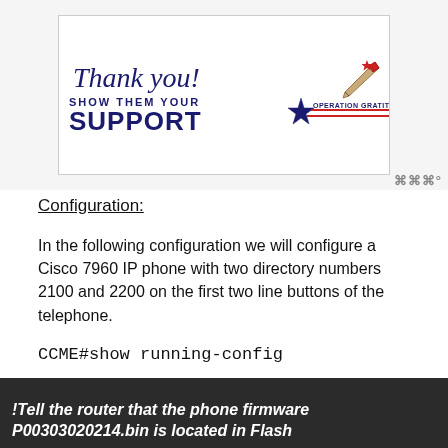[Figure (illustration): Advertisement image showing 'Thank you! Show Them Your SUPPORT - Operation Gratitude' with a pencil and star decorations on white background with border]
Configuration:
In the following configuration we will configure a Cisco 7960 IP phone with two directory numbers 2100 and 2200 on the first two line buttons of the telephone.
CCME#show running-config
!Tell the router that the phone firmware P00303020214.bin is located in Flash